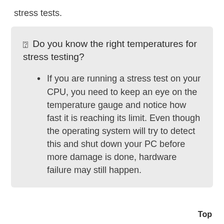stress tests.
Do you know the right temperatures for stress testing?
If you are running a stress test on your CPU, you need to keep an eye on the temperature gauge and notice how fast it is reaching its limit. Even though the operating system will try to detect this and shut down your PC before more damage is done, hardware failure may still happen.
Top